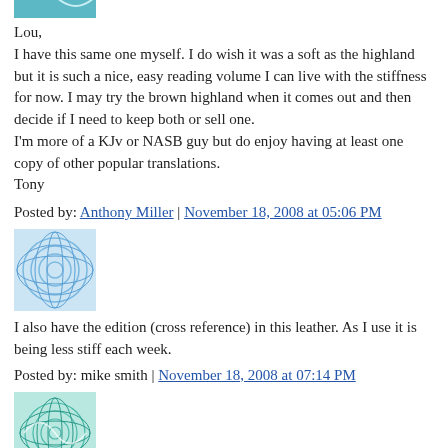[Figure (photo): Small square avatar image with blue teal wave/ribbon design, partially cropped at top]
Lou,
I have this same one myself. I do wish it was a soft as the highland but it is such a nice, easy reading volume I can live with the stiffness for now. I may try the brown highland when it comes out and then decide if I need to keep both or sell one.
I'm more of a KJv or NASB guy but do enjoy having at least one copy of other popular translations.
Tony
Posted by: Anthony Miller | November 18, 2008 at 05:06 PM
[Figure (photo): Small square avatar image with blue geometric sphere/globe pattern on light blue background]
I also have the edition (cross reference) in this leather. As I use it is being less stiff each week.
Posted by: mike smith | November 18, 2008 at 07:14 PM
[Figure (photo): Small square avatar image with teal/green circular grid/sphere pattern]
Tony,